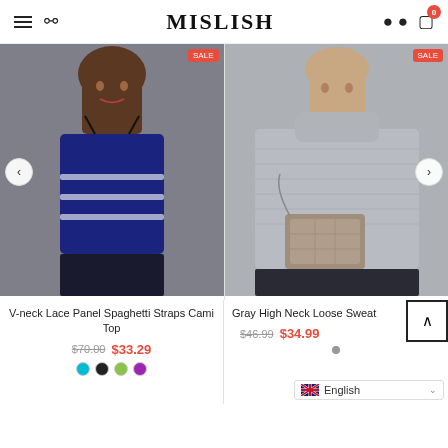MISLISH — navigation header with menu, search, user, and cart (0 items)
[Figure (photo): Woman wearing a blue V-neck lace panel spaghetti straps cami top with white stripe pattern, black pants, gray background]
V-neck Lace Panel Spaghetti Straps Cami Top
$70.00  $33.29
[Figure (photo): Woman wearing a gray high neck loose sweater, holding a patterned handbag, gray background]
Gray High Neck Loose Sweat
$46.99  $34.99